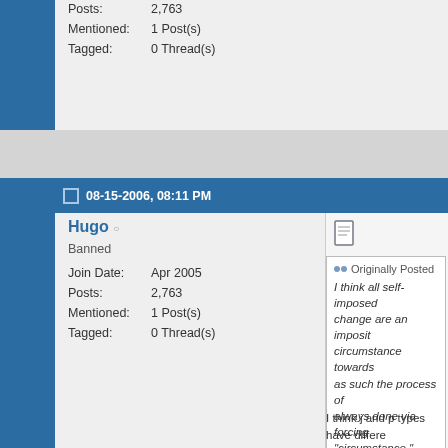Posts: 2,763
Mentioned: 1 Post(s)
Tagged: 0 Thread(s)
to me, improving circum... are changing them
Yes. Either you try to improve y... the ones that already exist, in o...
(I'm trying to think of an exampl...
08-15-2006, 08:11 PM
Hugo
Banned
Join Date: Apr 2005
Posts: 2,763
Mentioned: 1 Post(s)
Tagged: 0 Thread(s)
Originally Posted b...
I think all self-imposed... change are an imposit... circumstance towards... as such the process of... always done via forcing... "circumstance."
I think j and p types have differe... Perhaps I'm wrong.